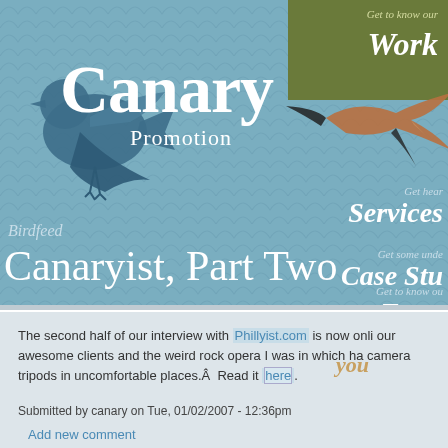[Figure (logo): Canary Promotion logo with blue bird silhouette on teal scallop-patterned background, with navigation items (Work, Services, Case Studies, Team) on the right side]
Birdfeed
Canaryist, Part Two
The second half of our interview with Phillyist.com is now online. We talk about our awesome clients and the weird rock opera I was in which had camera tripods in uncomfortable places.Â  Read it here.
Submitted by canary on Tue, 01/02/2007 - 12:36pm
Add new comment